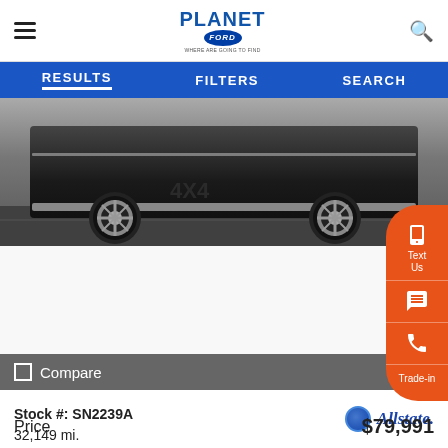Planet Ford — hamburger menu, logo, search icon
RESULTS   FILTERS   SEARCH
[Figure (photo): Bottom portion of a dark luxury SUV (Lincoln Navigator or similar) photographed in black and white, showing the lower body, wheels, and tires on asphalt pavement]
Compare
Stock #: SN2239A
32,149 mi.
[Figure (logo): Allstate insurance logo — blue globe icon with 'Allstate' in blue italic text]
Price
$79,991